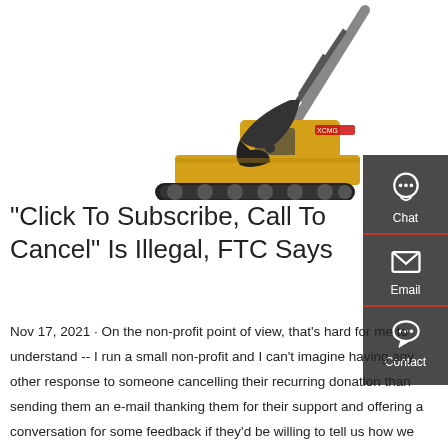[Figure (photo): Yellow excavator/crawler construction machine on white background, brand XCMG]
"Click To Subscribe, Call To Cancel" Is Illegal, FTC Says
Nov 17, 2021 · On the non-profit point of view, that's hard for me to understand -- I run a small non-profit and I can't imagine having any other response to someone cancelling their recurring donation than sending them an e-mail thanking them for their support and offering a conversation for some feedback if they'd be willing to tell us how we could do better.